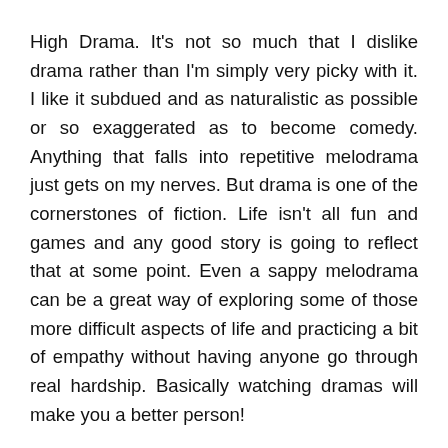High Drama. It's not so much that I dislike drama rather than I'm simply very picky with it. I like it subdued and as naturalistic as possible or so exaggerated as to become comedy. Anything that falls into repetitive melodrama just gets on my nerves. But drama is one of the cornerstones of fiction. Life isn't all fun and games and any good story is going to reflect that at some point. Even a sappy melodrama can be a great way of exploring some of those more difficult aspects of life and practicing a bit of empathy without having anyone go through real hardship. Basically watching dramas will make you a better person!
Finally, we have my personal kryptonite: Romance. And romance series have their good aspects too. There's the… *sales and viewership numbers*. Ok wait I'll do it seriously. There's a...